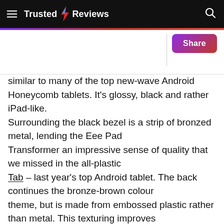Trusted Reviews
similar to many of the top new-wave Android Honeycomb tablets. It's glossy, black and rather iPad-like. Surrounding the black bezel is a strip of bronzed metal, lending the Eee Pad Transformer an impressive sense of quality that we missed in the all-plastic Tab – last year's top Android tablet. The back continues the bronze-brown colour theme, but is made from embossed plastic rather than metal. This texturing improves grip hugely, but falls some way behind the feel of the iPad 2's anodised aluminium back in the quality stakes.